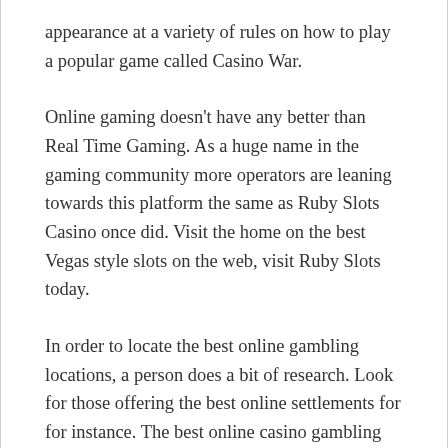appearance at a variety of rules on how to play a popular game called Casino War.
Online gaming doesn't have any better than Real Time Gaming. As a huge name in the gaming community more operators are leaning towards this platform the same as Ruby Slots Casino once did. Visit the home on the best Vegas style slots on the web, visit Ruby Slots today.
In order to locate the best online gambling locations, a person does a bit of research. Look for those offering the best online settlements for for instance. The best online casino gambling sites offer a lot of options, including online slot machines. Remember as well that obtaining online casinos for players in the country may stop the suitable for people utilising countries. Also make